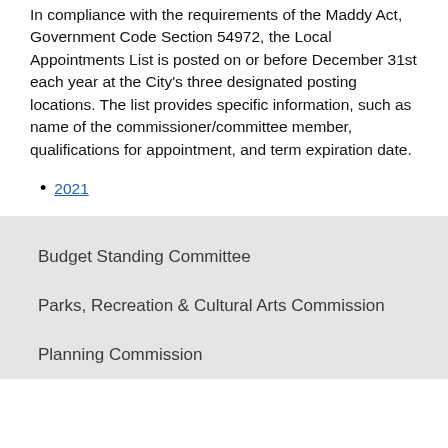In compliance with the requirements of the Maddy Act, Government Code Section 54972, the Local Appointments List is posted on or before December 31st each year at the City's three designated posting locations. The list provides specific information, such as name of the commissioner/committee member, qualifications for appointment, and term expiration date.
2021
Budget Standing Committee
Parks, Recreation & Cultural Arts Commission
Planning Commission